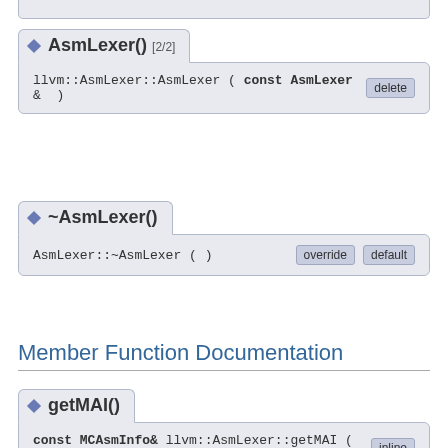AsmLexer() [2/2]
llvm::AsmLexer::AsmLexer ( const AsmLexer & )  delete
~AsmLexer()
AsmLexer::~AsmLexer ( )  override  default
Member Function Documentation
getMAI()
const MCAsmInfo& llvm::AsmLexer::getMAI ( ) const  inline